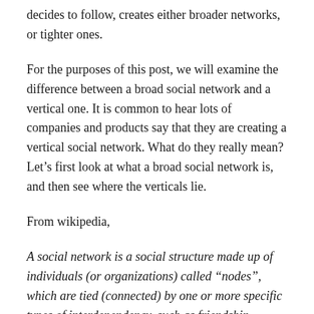decides to follow, creates either broader networks, or tighter ones.
For the purposes of this post, we will examine the difference between a broad social network and a vertical one. It is common to hear lots of companies and products say that they are creating a vertical social network. What do they really mean? Let’s first look at what a broad social network is, and then see where the verticals lie.
From wikipedia,
A social network is a social structure made up of individuals (or organizations) called “nodes”, which are tied (connected) by one or more specific types of interdependency, such as friendship, kinship, common